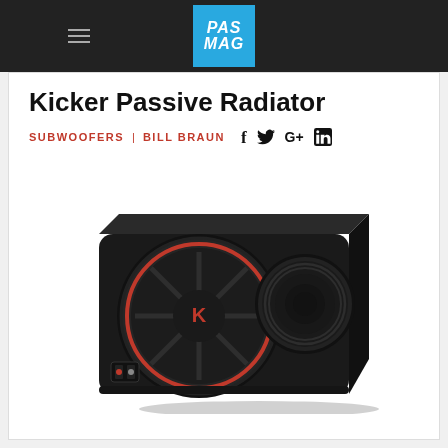PAS MAG
Kicker Passive Radiator
SUBWOOFERS | BILL BRAUN
[Figure (photo): Kicker passive radiator subwoofer enclosure - a black rectangular box with a large woofer on the left with red ring accent and Kicker K logo, and a smaller passive radiator on the right, with speaker terminals on the front bottom-left, shot at an angle on white background]